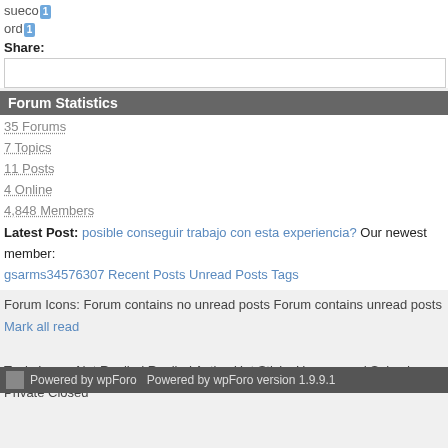sueco 1
ord 1
Share:
Forum Statistics
35 Forums
7 Topics
11 Posts
4 Online
4,848 Members
Latest Post: posible conseguir trabajo con esta experiencia? Our newest member: gsarms34576307 Recent Posts Unread Posts Tags
Forum Icons: Forum contains no unread posts Forum contains unread posts Mark all read
Topic Icons: Not Replied Replied Active Hot Sticky Unapproved Solved Private Closed
Powered by wpForo  Powered by wpForo version 1.9.9.1